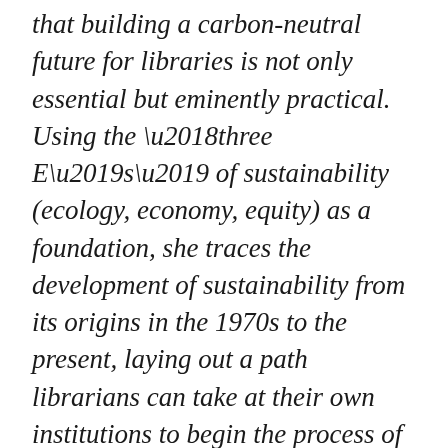that building a carbon-neutral future for libraries is not only essential but eminently practical. Using the ‘three E’s’ of sustainability (ecology, economy, equity) as a foundation, she traces the development of sustainability from its origins in the 1970s to the present, laying out a path librarians can take at their own institutions to begin the process of building a carbon-neutral library.
I’m not sure that our earlier Greening Libraries and Focus on Educating for Sustainability did not “seriously examine the future